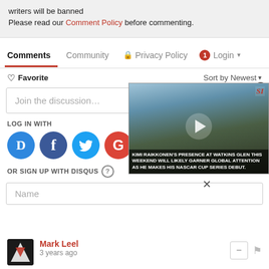writers will be banned
Please read our Comment Policy before commenting.
Comments  Community  Privacy Policy  Login
♡ Favorite    Sort by Newest ▾
Join the discussion…
LOG IN WITH
[Figure (screenshot): Social login icons: Disqus (D), Facebook (f), Twitter bird, Google (G)]
OR SIGN UP WITH DISQUS ?
Name
[Figure (photo): Video thumbnail of a racing driver (Kimi Raikkonen) with caption: KIMI RAIKKONEN'S PRESENCE AT WATKINS GLEN THIS WEEKEND WILL LIKELY GARNER GLOBAL ATTENTION AS HE MAKES HIS NASCAR CUP SERIES DEBUT.]
×
Mark Leel
3 years ago